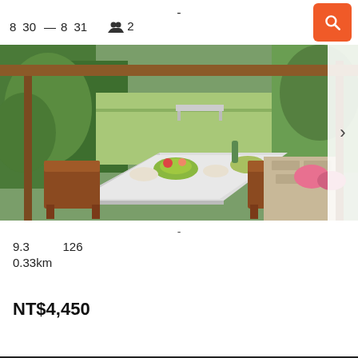- 8 30 — 8 31 👥 2
[Figure (photo): Outdoor garden dining area with a white-clothed table set with food and flowers, wooden chairs, lush greenery in the background, open-air pavilion structure]
-
9.3  126
0.33km
NT$4,450